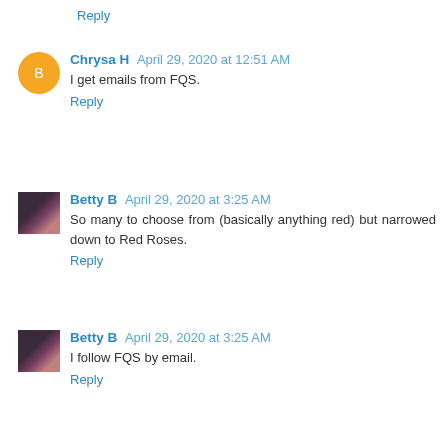Reply
Chrysa H  April 29, 2020 at 12:51 AM
I get emails from FQS.
Reply
Betty B  April 29, 2020 at 3:25 AM
So many to choose from (basically anything red) but narrowed down to Red Roses.
Reply
Betty B  April 29, 2020 at 3:25 AM
I follow FQS by email.
Reply